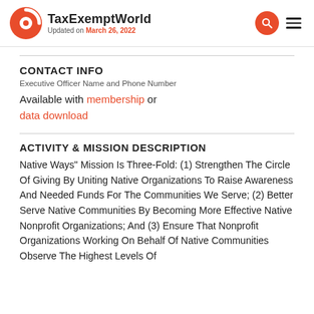TaxExemptWorld — Updated on March 26, 2022
CONTACT INFO
Executive Officer Name and Phone Number
Available with membership or data download
ACTIVITY & MISSION DESCRIPTION
Native Ways" Mission Is Three-Fold: (1) Strengthen The Circle Of Giving By Uniting Native Organizations To Raise Awareness And Needed Funds For The Communities We Serve; (2) Better Serve Native Communities By Becoming More Effective Native Nonprofit Organizations; And (3) Ensure That Nonprofit Organizations Working On Behalf Of Native Communities Observe The Highest Levels Of